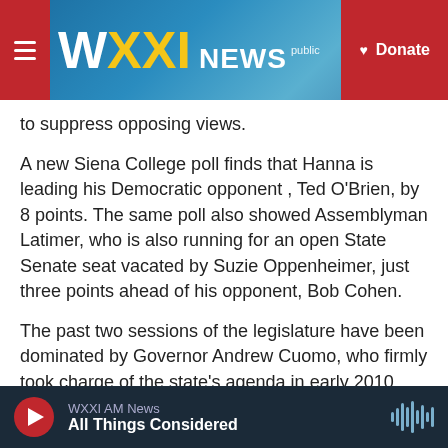[Figure (screenshot): WXXI News website header with logo, navigation menu icon, and red Donate button on a blue gradient background]
to suppress opposing views.
A new Siena College poll finds that Hanna is leading his Democratic opponent , Ted O'Brien, by 8 points. The same poll also showed Assemblyman Latimer, who is also running for an open State Senate seat vacated by Suzie Oppenheimer, just three points ahead of his opponent, Bob Cohen.
The past two sessions of the legislature have been dominated by Governor Andrew Cuomo, who firmly took charge of the state's agenda in early 2010. Moore says  Cuomo has not made new
WXXI AM News
All Things Considered